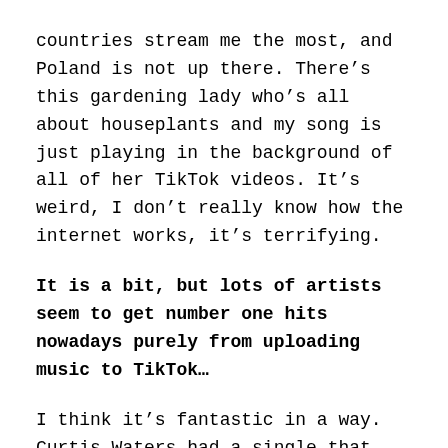countries stream me the most, and Poland is not up there. There's this gardening lady who's all about houseplants and my song is just playing in the background of all of her TikTok videos. It's weird, I don't really know how the internet works, it's terrifying.
It is a bit, but lots of artists seem to get number one hits nowadays purely from uploading music to TikTok…
I think it's fantastic in a way. Curtis Waters had a single that was out for about a year, and then people started using it on